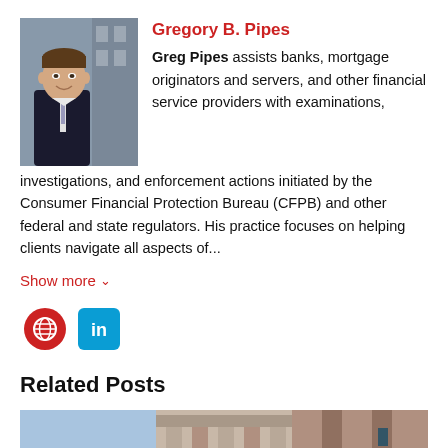[Figure (photo): Professional headshot of Gregory B. Pipes, a young man in a dark suit and tie, smiling, with a city background]
Gregory B. Pipes
Greg Pipes assists banks, mortgage originators and servers, and other financial service providers with examinations, investigations, and enforcement actions initiated by the Consumer Financial Protection Bureau (CFPB) and other federal and state regulators. His practice focuses on helping clients navigate all aspects of...
Show more
[Figure (logo): Globe icon (red circle with white globe outline) and LinkedIn icon (cyan rounded rectangle with white 'in')]
Related Posts
[Figure (photo): Three related post thumbnail images side by side: a sky/bird scene, a building with columns, and a brick/stone facade]